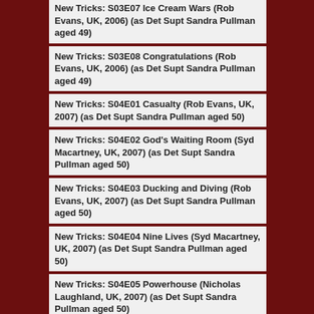New Tricks: S03E07 Ice Cream Wars (Rob Evans, UK, 2006) (as Det Supt Sandra Pullman aged 49)
New Tricks: S03E08 Congratulations (Rob Evans, UK, 2006) (as Det Supt Sandra Pullman aged 49)
New Tricks: S04E01 Casualty (Rob Evans, UK, 2007) (as Det Supt Sandra Pullman aged 50)
New Tricks: S04E02 God's Waiting Room (Syd Macartney, UK, 2007) (as Det Supt Sandra Pullman aged 50)
New Tricks: S04E03 Ducking and Diving (Rob Evans, UK, 2007) (as Det Supt Sandra Pullman aged 50)
New Tricks: S04E04 Nine Lives (Syd Macartney, UK, 2007) (as Det Supt Sandra Pullman aged 50)
New Tricks: S04E05 Powerhouse (Nicholas Laughland, UK, 2007) (as Det Supt Sandra Pullman aged 50)
New Tricks: S04E06 Buried Treasure (Minkie Spiro, UK, 2007) (as Det Supt Sandra Pullman aged 50)
New Tricks: S04E07 Father's Pride (Nicholas Laughland, UK, 2007) (as Det Supt Sandra Pullman aged 50)
New Tricks: S04E08 Big Topped (Minkie Spiro, UK, 2007) (as Det Supt Sandra Pullman aged 50)
Profiling: S01E05 Ruth Rendell (Gareth Jones, 2008) (as Self aged 51)
Honest: S01E01 (Brian Kelly, 2008) (as Lindsay Carter aged